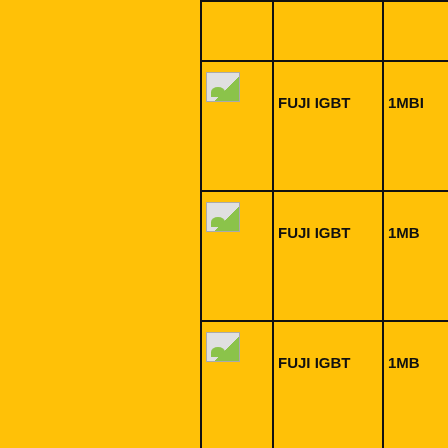| [image] | Name | Code |
| --- | --- | --- |
| [img] |  |  |
| [img] | FUJI IGBT | 1MBI |
| [img] | FUJI IGBT | 1MB |
| [img] | FUJI IGBT | 1MB |